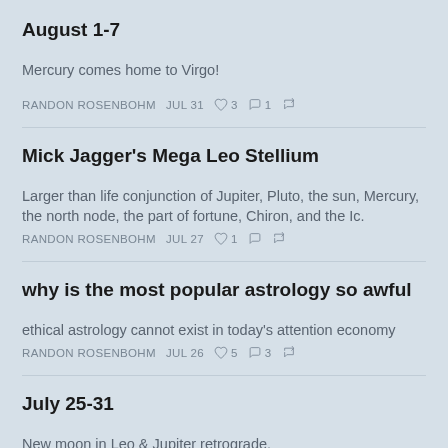August 1-7
Mercury comes home to Virgo!
RANDON ROSENBOHM   JUL 31   ♡ 3   ○ 1   ↗
Mick Jagger's Mega Leo Stellium
Larger than life conjunction of Jupiter, Pluto, the sun, Mercury, the north node, the part of fortune, Chiron, and the Ic.
RANDON ROSENBOHM   JUL 27   ♡ 1   ○   ↗
why is the most popular astrology so awful
ethical astrology cannot exist in today's attention economy
RANDON ROSENBOHM   JUL 26   ♡ 5   ○ 3   ↗
July 25-31
New moon in Leo & Jupiter retrograde.
RANDON ROSENBOHM   JUL 24   ♡ 4   ○   ↗